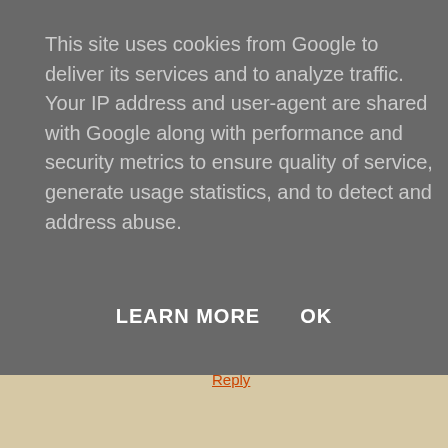This site uses cookies from Google to deliver its services and to analyze traffic. Your IP address and user-agent are shared with Google along with performance and security metrics to ensure quality of service, generate usage statistics, and to detect and address abuse.
LEARN MORE    OK
Reply
P.D.Mlynek   April 17, 2016 at 10:27 PM
Wow, this is excellent, Blanko! I really appreciate you letting us
Reply
Enter Comment